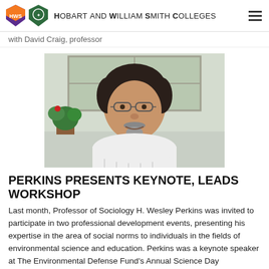HOBART AND WILLIAM SMITH COLLEGES
with David Craig, professor
[Figure (photo): Portrait photo of Professor H. Wesley Perkins, a middle-aged man with dark hair and a grey goatee, wearing glasses and a white striped shirt, seated near a window with potted plants in the background.]
PERKINS PRESENTS KEYNOTE, LEADS WORKSHOP
Last month, Professor of Sociology H. Wesley Perkins was invited to participate in two professional development events, presenting his expertise in the area of social norms to individuals in the fields of environmental science and education. Perkins was a keynote speaker at The Environmental Defense Fund's Annual Science Day